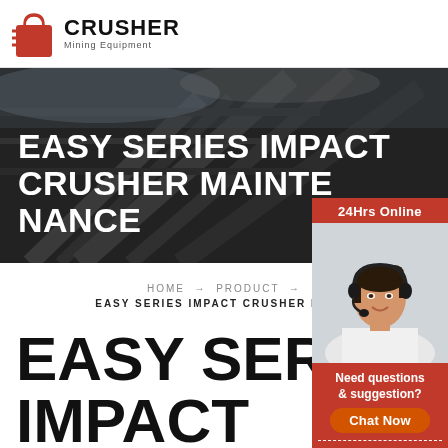[Figure (logo): Crusher Mining Equipment logo with red shopping bag icon and bold black CRUSHER text, subtitle Mining Equipment]
[Figure (photo): Dark industrial mining/crusher equipment background with large bold white text: EASY SERIES IMPACT CRUSHER MAINTENANCE]
HOME → PRODUCT →
EASY SERIES IMPACT CRUSHER MAINT
[Figure (photo): Right sidebar with red background showing 24Hrs Online label, woman with headset customer service photo, Need questions & suggestion text, Chat Now button, Enquiry link, and limingjlmofen@sina.com email]
EASY SERIES IMPACT